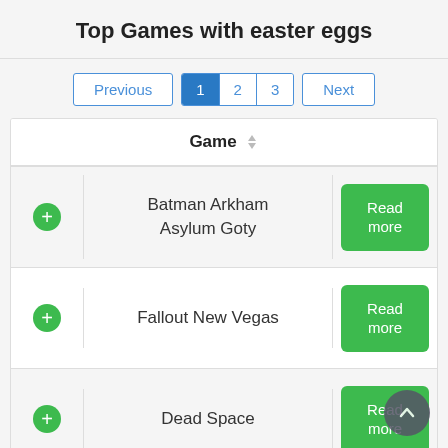Top Games with easter eggs
Previous | 1 | 2 | 3 | Next
| Game |
| --- |
| Batman Arkham Asylum Goty |
| Fallout New Vegas |
| Dead Space |